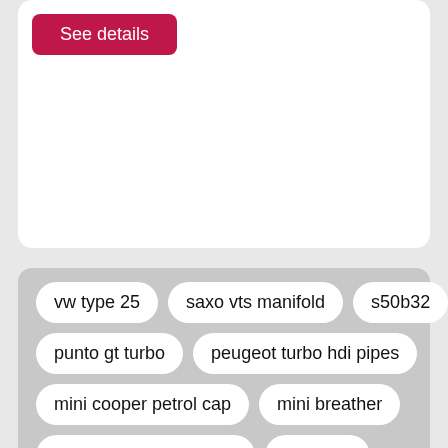[Figure (screenshot): Top white card with a crimson 'See details' button at top-left]
vw type 25
saxo vts manifold
s50b32
punto gt turbo
peugeot turbo hdi pipes
mini cooper petrol cap
mini breather
peugeot 206cc chrome
mbe ecu
logan mount cutter
mg zt diesel
porsche boxster 3 2s
mercedes vito 120
ford focus 2 0tdci titanium
[Figure (screenshot): Partial bottom white card with image visible at bottom of page]